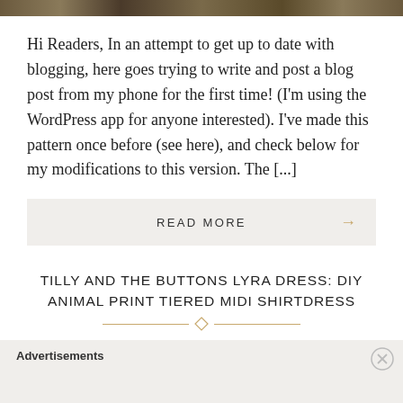[Figure (photo): Decorative animal print or nature texture banner image at top of page]
Hi Readers, In an attempt to get up to date with blogging, here goes trying to write and post a blog post from my phone for the first time! (I'm using the WordPress app for anyone interested). I've made this pattern once before (see here), and check below for my modifications to this version. The [...]
READ MORE →
TILLY AND THE BUTTONS LYRA DRESS: DIY ANIMAL PRINT TIERED MIDI SHIRTDRESS
Advertisements